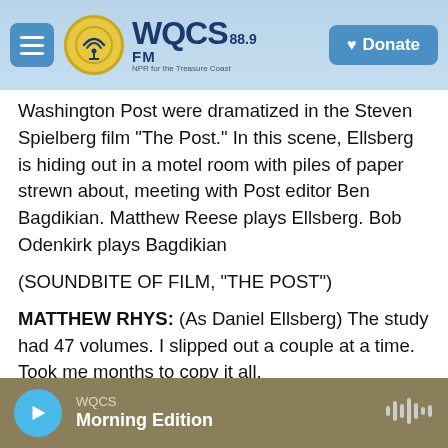WQCS 88.9 FM — NPR for the Treasure Coast | Donate
Washington Post were dramatized in the Steven Spielberg film "The Post." In this scene, Ellsberg is hiding out in a motel room with piles of paper strewn about, meeting with Post editor Ben Bagdikian. Matthew Reese plays Ellsberg. Bob Odenkirk plays Bagdikian
(SOUNDBITE OF FILM, "THE POST")
MATTHEW RHYS: (As Daniel Ellsberg) The study had 47 volumes. I slipped out a couple at a time. Took me months to copy it all.
BOB ODENKIRK: (As Ben Bagdikian) What the hell?
WQCS — Morning Edition